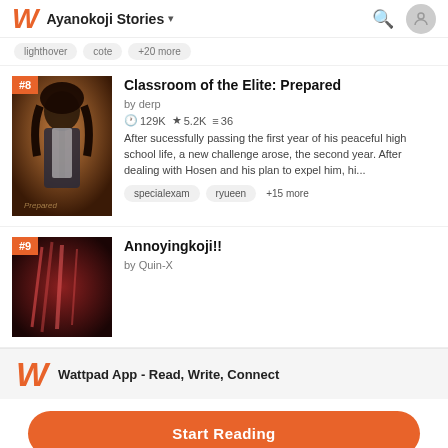Ayanokoji Stories
lighthover  cote  +20 more
#8  Classroom of the Elite: Prepared
by derp
129K ★5.2K ≡36
After sucessfully passing the first year of his peaceful high school life, a new challenge arose, the second year. After dealing with Hosen and his plan to expel him, hi...
specialexam  ryueen  +15 more
#9  Annoyingkoji!!
by Quin-X
Wattpad App - Read, Write, Connect
Start Reading
Log in with Browser